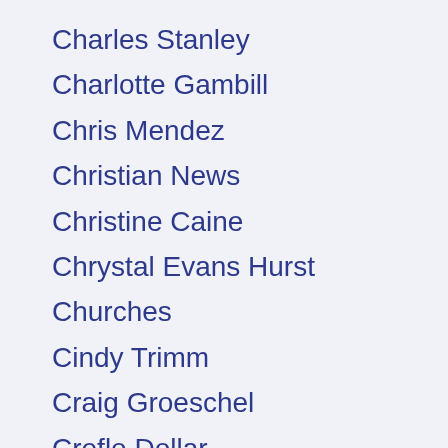Charles Stanley
Charlotte Gambill
Chris Mendez
Christian News
Christine Caine
Chrystal Evans Hurst
Churches
Cindy Trimm
Craig Groeschel
Creflo Dollar
Daily Devotional
Daily Devotions